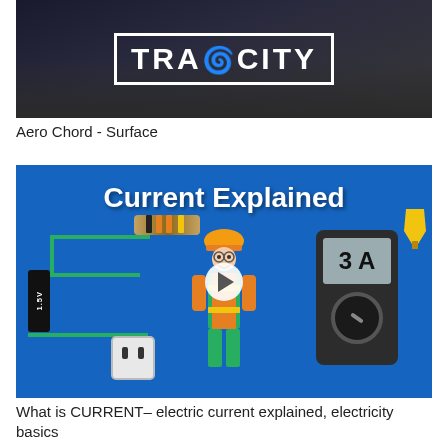[Figure (screenshot): Dark thumbnail image showing 'TRACITY' text in white block letters within a bordered box, set against a dark city aerial background]
Aero Chord - Surface
[Figure (screenshot): Educational video thumbnail on blue background titled 'Current Explained' showing animated illustrations of electrical components: battery (1.5V), resistor, circuit, worker/electrician figure, multimeter showing 3A, LED, and electrical outlet, with a play button overlay]
What is CURRENT– electric current explained, electricity basics